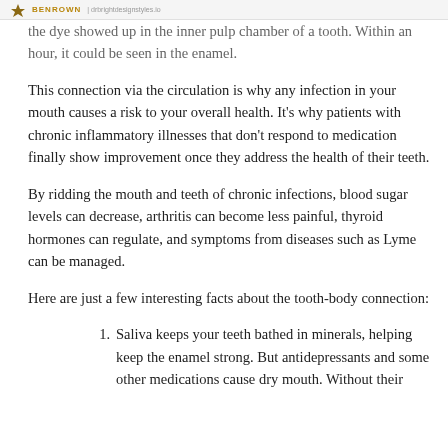BENROWN | drbrightdesignstyles.io
the dye showed up in the inner pulp chamber of a tooth. Within an hour, it could be seen in the enamel.
This connection via the circulation is why any infection in your mouth causes a risk to your overall health. It's why patients with chronic inflammatory illnesses that don't respond to medication finally show improvement once they address the health of their teeth.
By ridding the mouth and teeth of chronic infections, blood sugar levels can decrease, arthritis can become less painful, thyroid hormones can regulate, and symptoms from diseases such as Lyme can be managed.
Here are just a few interesting facts about the tooth-body connection:
Saliva keeps your teeth bathed in minerals, helping keep the enamel strong. But antidepressants and some other medications cause dry mouth. Without their regular